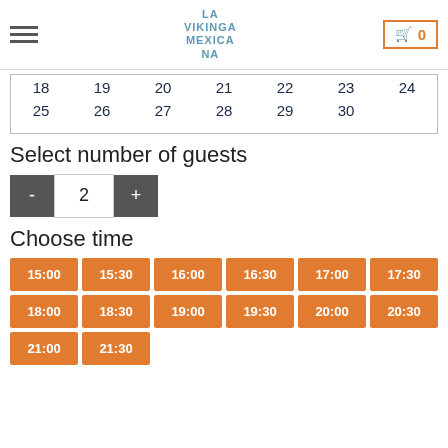LA VIKINGA MEXICANA
| 18 | 19 | 20 | 21 | 22 | 23 | 24 |
| 25 | 26 | 27 | 28 | 29 | 30 |  |
Select number of guests
- 2 +
Choose time
15:00 15:30 16:00 16:30 17:00 17:30 18:00 18:30 19:00 19:30 20:00 20:30 21:00 21:30